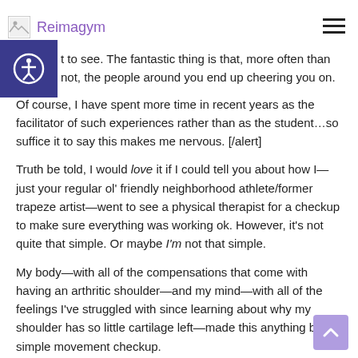Reimagym
t to see. The fantastic thing is that, more often than not, the people around you end up cheering you on.
Of course, I have spent more time in recent years as the facilitator of such experiences rather than as the student...so suffice it to say this makes me nervous. [/alert]
Truth be told, I would love it if I could tell you about how I—just your regular ol' friendly neighborhood athlete/former trapeze artist—went to see a physical therapist for a checkup to make sure everything was working ok. However, it's not quite that simple. Or maybe I'm not that simple.
My body—with all of the compensations that come with having an arthritic shoulder—and my mind—with all of the feelings I've struggled with since learning about why my shoulder has so little cartilage left—made this anything but a simple movement checkup.